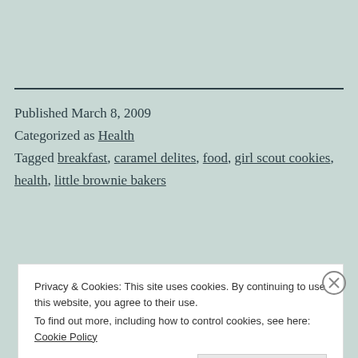Published March 8, 2009
Categorized as Health
Tagged breakfast, caramel delites, food, girl scout cookies, health, little brownie bakers
Privacy & Cookies: This site uses cookies. By continuing to use this website, you agree to their use.
To find out more, including how to control cookies, see here: Cookie Policy